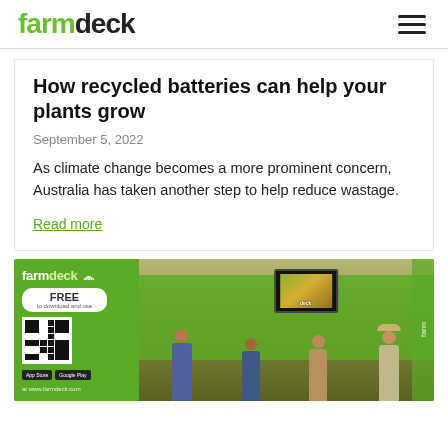farmdeck
How recycled batteries can help your plants grow
September 5, 2022
As climate change becomes a more prominent concern, Australia has taken another step to help reduce wastage.
Read more
[Figure (photo): Farmdeck exhibition booth with four staff members standing in front of green branded banners and a TV display showing farm imagery. A QR code banner for the free app is visible on the left.]